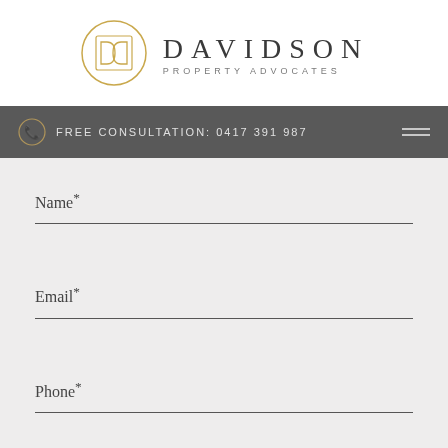[Figure (logo): Davidson Property Advocates logo: circular gold emblem with interlocked D letters, next to the text DAVIDSON in large spaced serif letters and PROPERTY ADVOCATES in small spaced sans-serif letters below]
FREE CONSULTATION: 0417 391 987
Name*
Email*
Phone*